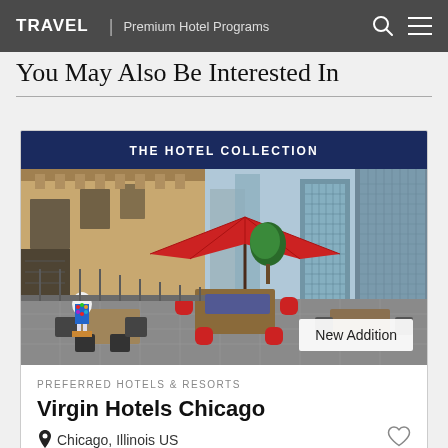TRAVEL | Premium Hotel Programs
You May Also Be Interested In
THE HOTEL COLLECTION
[Figure (photo): Rooftop terrace of Virgin Hotels Chicago with red umbrellas, outdoor seating, colorful art sculpture, and city skyline in background. Badge reads 'New Addition'.]
PREFERRED HOTELS & RESORTS
Virgin Hotels Chicago
Chicago, Illinois US